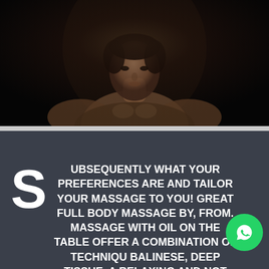[Figure (photo): Young shirtless man photographed against a dark background, upper body visible, dramatic low-key lighting]
SUBSEQUENTLY WHAT YOUR PREFERENCES ARE AND TAILOR YOUR MASSAGE TO YOU! GREAT FULL BODY MASSAGE BY, FROM. MASSAGE WITH OIL ON THE TABLE OFFER A COMBINATION OF TECHNIQUES BALINESE, DEEP TISSUE. A RELAXING AND NOT LONG AFTER
[Figure (logo): WhatsApp icon button (green circle with white phone/chat icon)]